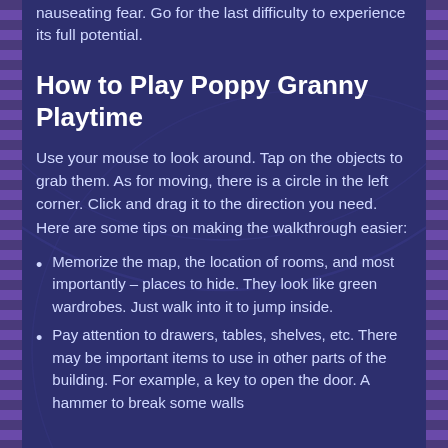nauseating fear. Go for the last difficulty to experience its full potential.
How to Play Poppy Granny Playtime
Use your mouse to look around. Tap on the objects to grab them. As for moving, there is a circle in the left corner. Click and drag it to the direction you need. Here are some tips on making the walkthrough easier:
Memorize the map, the location of rooms, and most importantly – places to hide. They look like green wardrobes. Just walk into it to jump inside.
Pay attention to drawers, tables, shelves, etc. There may be important items to use in other parts of the building. For example, a key to open the door. A hammer to break some walls